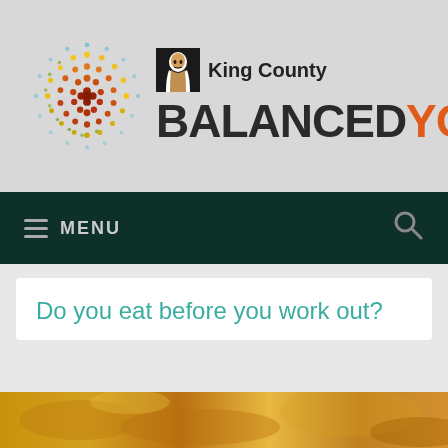[Figure (logo): King County Balanced You logo with colorful spiral dot pattern on left and 'BALANCED YOU' text with King County branding on right]
≡ MENU
Do you eat before you work out?
[Figure (photo): Food photo strip at bottom of page showing close-up of food items]